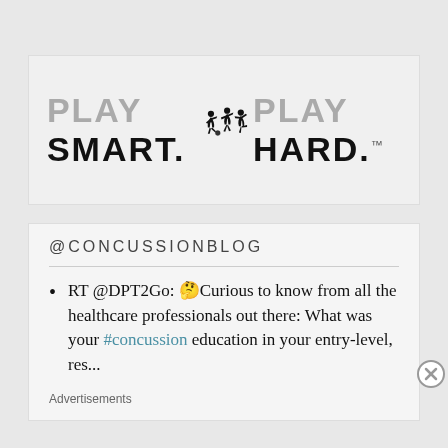[Figure (logo): Play Smart. Play Hard. logo with soccer player silhouettes in between the text]
@CONCUSSIONBLOG
RT @DPT2Go: 🤔Curious to know from all the healthcare professionals out there: What was your #concussion education in your entry-level, res...
Advertisements